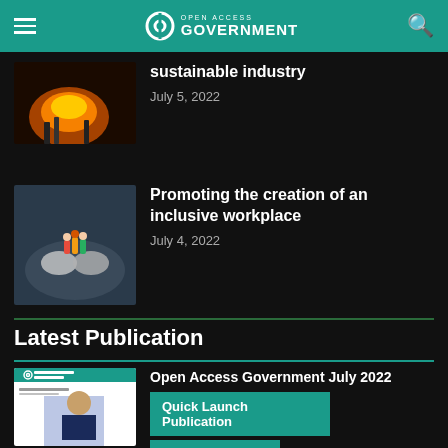Open Access Government
[Figure (photo): Industrial fire/molten metal scene at top, partially visible]
sustainable industry
July 5, 2022
[Figure (photo): Hands holding small colorful figurines representing diverse people]
Promoting the creation of an inclusive workplace
July 4, 2022
Latest Publication
[Figure (photo): Open Access Government July 2022 magazine cover featuring a man in a suit]
Open Access Government July 2022
Quick Launch Publication
More Details
July 1, 2022